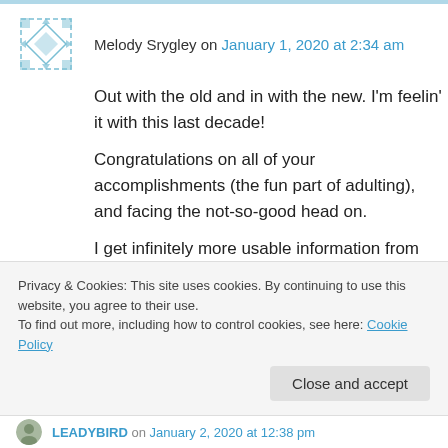Melody Srygley on January 1, 2020 at 2:34 am
Out with the old and in with the new. I'm feelin' it with this last decade!
Congratulations on all of your accomplishments (the fun part of adulting), and facing the not-so-good head on.
I get infinitely more usable information from blogs (yours 😍) than Instagram. (Fit, sizing, wildly useful tips.) So please, I beg you...
Privacy & Cookies: This site uses cookies. By continuing to use this website, you agree to their use.
To find out more, including how to control cookies, see here: Cookie Policy
Close and accept
LEADYBIRD on January 2, 2020 at 12:38 pm